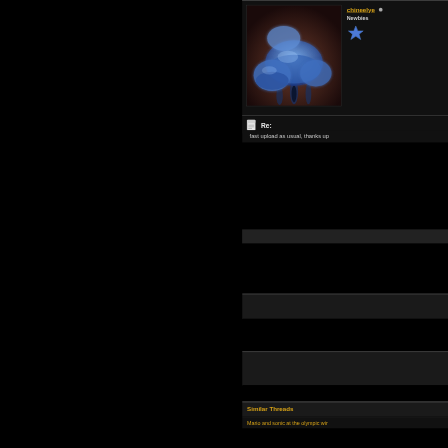[Figure (illustration): Blue glowing mushrooms avatar image on dark brown/purple background]
chineelye • Newbies
[Figure (illustration): Blue star/crown rank icon]
Re:
fast upload as usual, thanks up
Similar Threads
Mario and sonic at the olympic wir